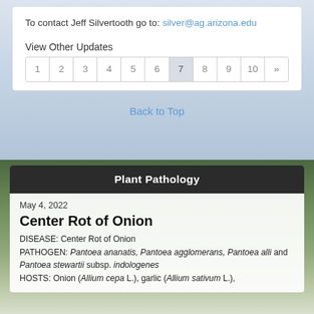To contact Jeff Silvertooth go to: silver@ag.arizona.edu
View Other Updates
| 1 | 2 | 3 | 4 | 5 | 6 | 7 | 8 | 9 | 10 | » |
| --- | --- | --- | --- | --- | --- | --- | --- | --- | --- | --- |
Back to Top
Plant Pathology
May 4, 2022
Center Rot of Onion
DISEASE: Center Rot of Onion
PATHOGEN: Pantoea ananatis, Pantoea agglomerans, Pantoea alli and Pantoea stewartii subsp. indologenes
HOSTS: Onion (Allium cepa L.), garlic (Allium sativum L.),